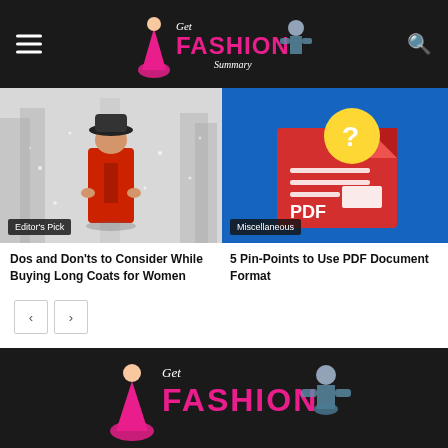Get Fashion Summary
[Figure (photo): Person wearing a red coat and black hat standing in a misty forest scene]
Editor's Pick
[Figure (illustration): PDF document icon with a yellow question mark circle on a blue background]
Miscellaneous
Dos and Don'ts to Consider While Buying Long Coats for Women
5 Pin-Points to Use PDF Document Format
[Figure (logo): Get Fashion Summary logo in footer on dark background]